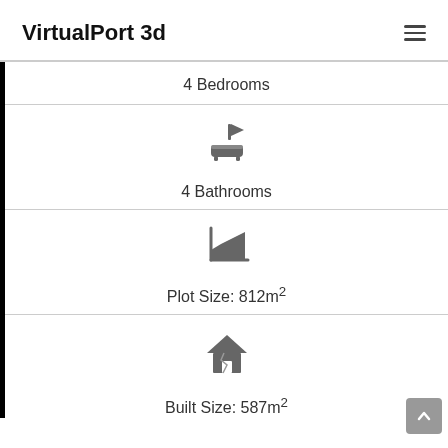VirtualPort 3d
4 Bedrooms
[Figure (illustration): Bathtub icon with flag]
4 Bathrooms
[Figure (illustration): Area/plot size chart icon]
Plot Size: 812m²
[Figure (illustration): House/home icon]
Built Size: 587m²